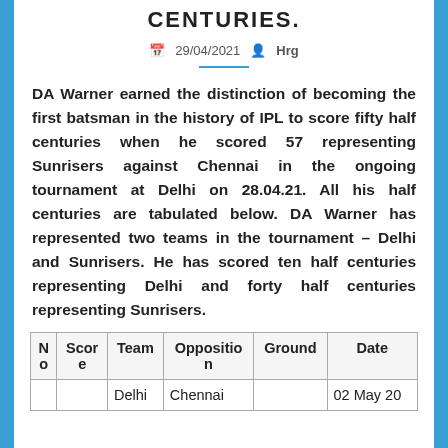CENTURIES.
29/04/2021  Hrg
DA Warner earned the distinction of becoming the first batsman in the history of IPL to score fifty half centuries when he scored 57 representing Sunrisers against Chennai in the ongoing tournament at Delhi on 28.04.21. All his half centuries are tabulated below. DA Warner has represented two teams in the tournament – Delhi and Sunrisers. He has scored ten half centuries representing Delhi and forty half centuries representing Sunrisers.
| No | Score | Team | Opposition | Ground | Date |
| --- | --- | --- | --- | --- | --- |
| 1 | 51* | Delhi | Chennai | Delhi | 02 May 20 |